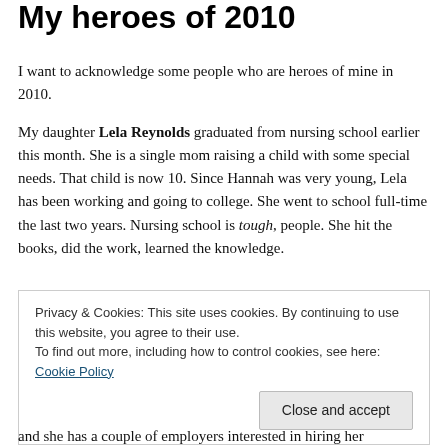My heroes of 2010
I want to acknowledge some people who are heroes of mine in 2010.
My daughter Lela Reynolds graduated from nursing school earlier this month. She is a single mom raising a child with some special needs. That child is now 10. Since Hannah was very young, Lela has been working and going to college. She went to school full-time the last two years. Nursing school is tough, people. She hit the books, did the work, learned the knowledge.
Privacy & Cookies: This site uses cookies. By continuing to use this website, you agree to their use.
To find out more, including how to control cookies, see here: Cookie Policy
and she has a couple of employers interested in hiring her